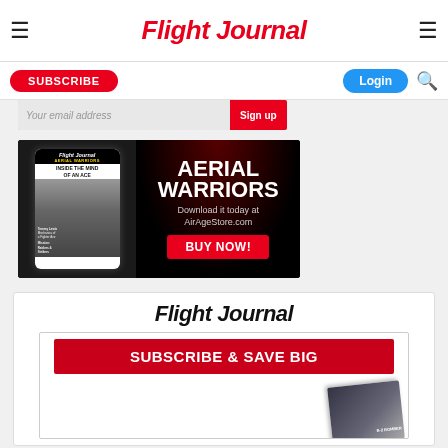Flight Journal
[Figure (screenshot): Email signup bar with email input field and red Sign up button]
[Figure (infographic): Aerial Warriors advertisement: tablet showing Flight Journal Aerial Warriors - Inside the Mind of an Ace cover, red text AERIAL WARRIORS, Download it today at AirAgeStore.com, red BUY NOW button]
[Figure (infographic): Flight Journal subscribe card: Flight Journal logo, inner white card with Subscribe & Save Big red banner, magazine cover partially showing B-2 Bomber]